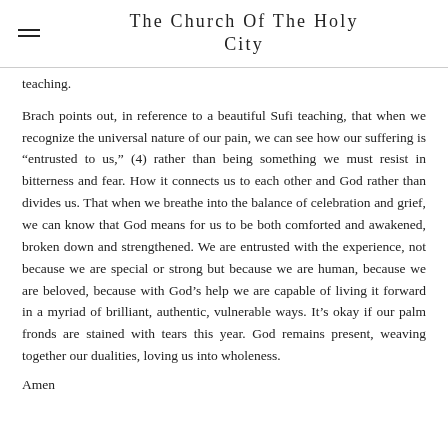The Church Of The Holy City
teaching.
Brach points out, in reference to a beautiful Sufi teaching, that when we recognize the universal nature of our pain, we can see how our suffering is “entrusted to us,” (4) rather than being something we must resist in bitterness and fear. How it connects us to each other and God rather than divides us. That when we breathe into the balance of celebration and grief, we can know that God means for us to be both comforted and awakened, broken down and strengthened. We are entrusted with the experience, not because we are special or strong but because we are human, because we are beloved, because with God’s help we are capable of living it forward in a myriad of brilliant, authentic, vulnerable ways. It’s okay if our palm fronds are stained with tears this year. God remains present, weaving together our dualities, loving us into wholeness.
Amen